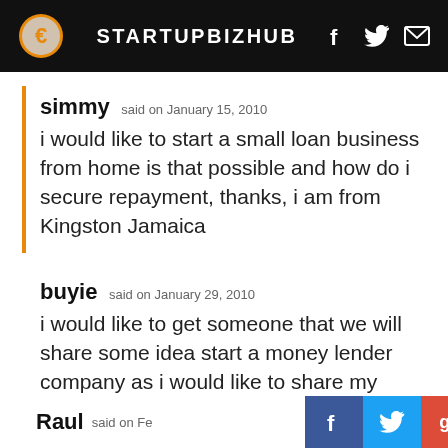STARTUPBIZHUB
simmy said on January 15, 2010
i would like to start a small loan business from home is that possible and how do i secure repayment, thanks, i am from Kingston Jamaica
buyie said on January 29, 2010
i would like to get someone that we will share some idea start a money lender company as i would like to share my ideas with anyone who is willing to start the business.
Raul said on Fe...